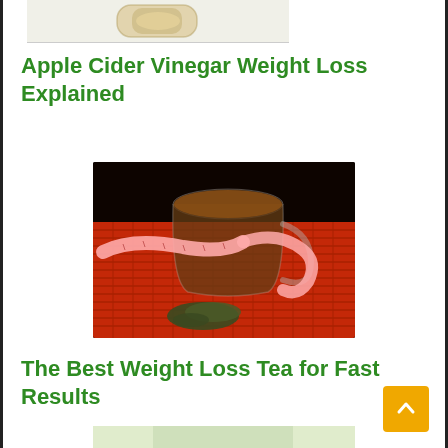[Figure (photo): Top portion of an image showing apple cider vinegar or similar drink in a glass container on a light background]
Apple Cider Vinegar Weight Loss Explained
[Figure (photo): A glass cup of tea with a measuring tape wrapped around it and loose tea leaves scattered on a red bamboo mat, against a dark background]
The Best Weight Loss Tea for Fast Results
[Figure (photo): Bottom portion of another article image, partially visible at the bottom of the page]